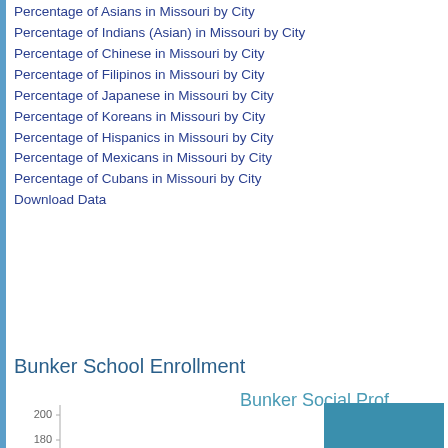Percentage of Asians in Missouri by City
Percentage of Indians (Asian) in Missouri by City
Percentage of Chinese in Missouri by City
Percentage of Filipinos in Missouri by City
Percentage of Japanese in Missouri by City
Percentage of Koreans in Missouri by City
Percentage of Hispanics in Missouri by City
Percentage of Mexicans in Missouri by City
Percentage of Cubans in Missouri by City
Download Data
Bunker Social Prof
Bunker School Enrollment
[Figure (bar-chart): Bar chart showing Bunker School Enrollment. Y-axis from 0 to 200+ with a tall blue bar visible on the right side.]